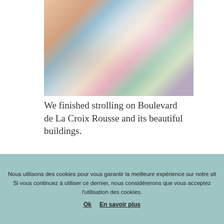[Figure (photo): Colorful display of gift boxes, stationery items, a cloud-shaped pillow, a blue satchel, and decorative items on a surface]
We finished strolling on Boulevard de La Croix Rousse and its beautiful buildings.
[Figure (photo): Partial view of ornate Haussmanian-style building facades on Boulevard de La Croix Rousse]
Nous utilisons des cookies pour vous garantir la meilleure expérience sur notre sit Si vous continuez à utiliser ce dernier, nous considérerons que vous acceptez l'utilisation des cookies.
Ok  En savoir plus